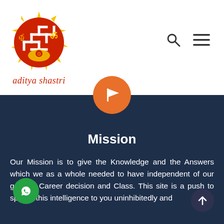[Figure (logo): Aditya Shastri logo: circular red emblem with swastika, trident, Om symbol, sun rays in yellow/gold, with red text 'aditya shastri' below]
[Figure (other): Search icon (magnifying glass) and hamburger menu icon for navigation]
[Figure (other): Orange circle with white flag icon]
Mission
Our Mission is to give the Knowledge and the Answers which we as a whole needed to have independent of our gender, Career decision and Class. This site is a push to spread this intelligence to you uninhibitedly and